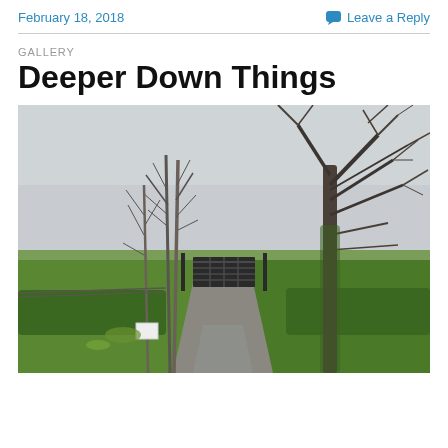February 18, 2018
Leave a Reply
GALLERY
Deeper Down Things
[Figure (photo): A rural driveway lined with bare winter trees leading to a farm gate, with green hedges on either side, a grey overcast sky, and open fields beyond the gate. The scene is a quiet, wintry countryside landscape.]